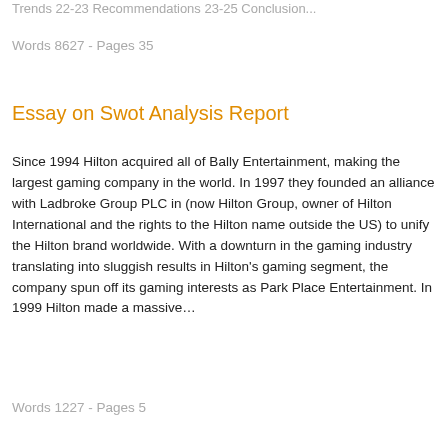Trends 22-23 Recommendations 23-25 Conclusion...
Words 8627 - Pages 35
Essay on Swot Analysis Report
Since 1994 Hilton acquired all of Bally Entertainment, making the largest gaming company in the world. In 1997 they founded an alliance with Ladbroke Group PLC in (now Hilton Group, owner of Hilton International and the rights to the Hilton name outside the US) to unify the Hilton brand worldwide. With a downturn in the gaming industry translating into sluggish results in Hilton’s gaming segment, the company spun off its gaming interests as Park Place Entertainment. In 1999 Hilton made a massive…
Words 1227 - Pages 5